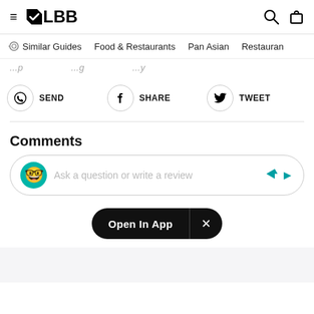≡ LBB [search] [bag]
Similar Guides   Food & Restaurants   Pan Asian   Restauran
...p ...g ...y
SEND   SHARE   TWEET
Comments
Ask a question or write a review
Open In App  ×